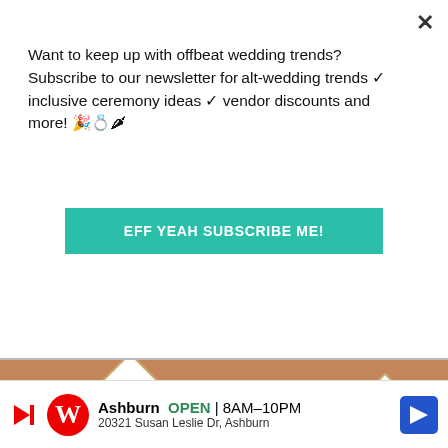Want to keep up with offbeat wedding trends?Subscribe to our newsletter for alt-wedding trends ✓ inclusive ceremony ideas ✓ vendor discounts and more! 🎉💍🌸
EFF YEAH SUBSCRIBE ME!
[Figure (photo): Three terracotta pots each containing a diamond-shaped card with floral (eucalyptus and roses) design reading 'let love grow' with 'Robert & Allison 04.24.2021' — wedding favor seed packets.]
Ashburn OPEN 8AM–10PM 20321 Susan Leslie Dr, Ashburn